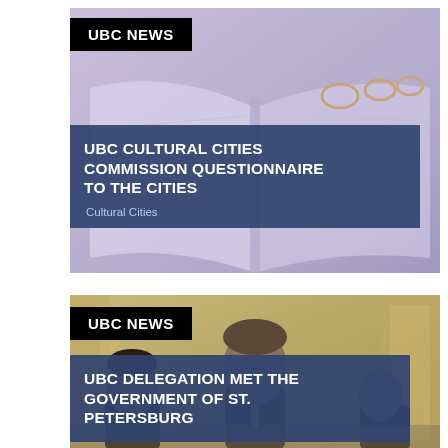[Figure (photo): Photo of open book/binder with rings, purple-toned background. UBC NEWS label in black. Title overlay box with 'UBC CULTURAL CITIES COMMISSION QUESTIONNAIRE TO THE CITIES' and 'Cultural Cities' subtitle.]
UBC CULTURAL CITIES COMMISSION QUESTIONNAIRE TO THE CITIES
Cultural Cities
[Figure (photo): Photo of people at a government meeting table, warm golden/beige background tones. UBC NEWS label in black. Title overlay box with 'UBC DELEGATION MET THE GOVERNMENT OF ST. PETERSBURG'.]
UBC DELEGATION MET THE GOVERNMENT OF ST. PETERSBURG